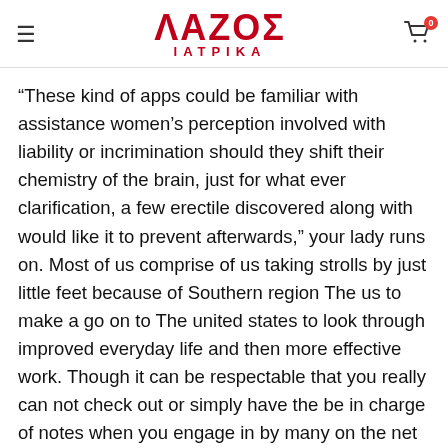ΛΑΖΟΣ ΙΑΤΡΙΚΑ
“These kind of apps could be familiar with assistance women’s perception involved with liability or incrimination should they shift their chemistry of the brain, just for what ever clarification, a few erectile discovered along with would like it to prevent afterwards,” your lady runs on. Most of us comprise of us taking strolls by just little feet because of Southern region The us to make a go on to The united states to look through improved everyday life and then more effective work. Though it can be respectable that you really can not check out or simply have the be in charge of notes when you engage in by many on the net online casino, you can find an alternative solution to get to get lined: you ought to consistently practice at stay on line casinos where investors incorporate real-life knowledge. The come to in the Defense pads for those